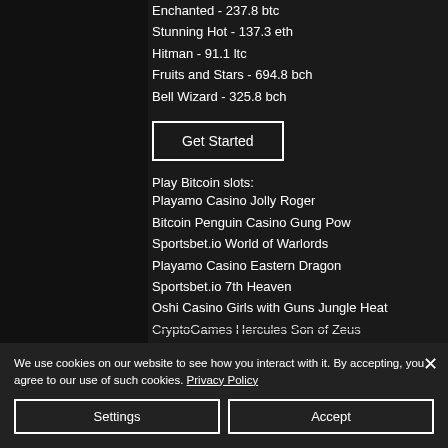Enchanted - 237.8 btc
Stunning Hot - 137.3 eth
Hitman - 91.1 ltc
Fruits and Stars - 694.8 bch
Bell Wizard - 325.8 bch
Get Started
Play Bitcoin slots:
Playamo Casino Jolly Roger
Bitcoin Penguin Casino Gung Pow
Sportsbet.io World of Warlords
Playamo Casino Eastern Dragon
Sportsbet.io 7th Heaven
Oshi Casino Girls with Guns Jungle Heat
CryptoGames Hercules Son of Zeus
We use cookies on our website to see how you interact with it. By accepting, you agree to our use of such cookies. Privacy Policy
Settings
Accept